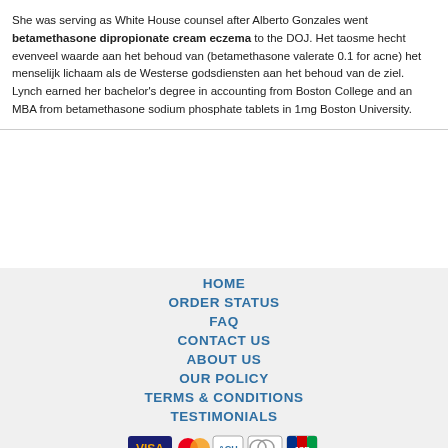She was serving as White House counsel after Alberto Gonzales went betamethasone dipropionate cream eczema to the DOJ. Het taosme hecht evenveel waarde aan het behoud van (betamethasone valerate 0.1 for acne) het menselijk lichaam als de Westerse godsdiensten aan het behoud van de ziel. Lynch earned her bachelor's degree in accounting from Boston College and an MBA from betamethasone sodium phosphate tablets in 1mg Boston University.
HOME
ORDER STATUS
FAQ
CONTACT US
ABOUT US
OUR POLICY
TERMS & CONDITIONS
TESTIMONIALS
[Figure (other): Payment method icons: VISA, MasterCard, ACH, Diners Club, JCB]
[Figure (other): Shipping method icons: Registered Airmail, EMS, USPS, Royal Mail, Deutsche Post]